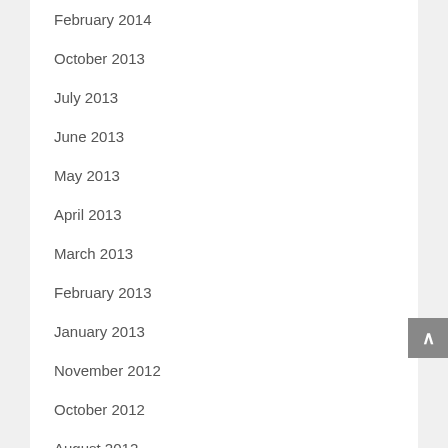February 2014
October 2013
July 2013
June 2013
May 2013
April 2013
March 2013
February 2013
January 2013
November 2012
October 2012
August 2012
July 2012
June 2012
May 2012